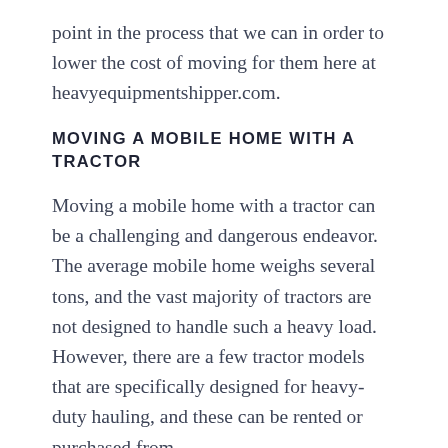point in the process that we can in order to lower the cost of moving for them here at heavyequipmentshipper.com.
MOVING A MOBILE HOME WITH A TRACTOR
Moving a mobile home with a tractor can be a challenging and dangerous endeavor. The average mobile home weighs several tons, and the vast majority of tractors are not designed to handle such a heavy load. However, there are a few tractor models that are specifically designed for heavy-duty hauling, and these can be rented or purchased from heavyequipmentshipper.com.